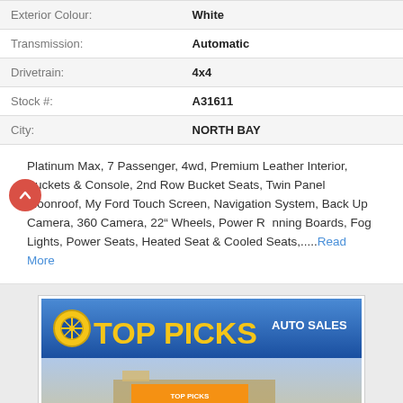| Label | Value |
| --- | --- |
| Exterior Colour: | White |
| Transmission: | Automatic |
| Drivetrain: | 4x4 |
| Stock #: | A31611 |
| City: | NORTH BAY |
Platinum Max, 7 Passenger, 4wd, Premium Leather Interior, Buckets & Console, 2nd Row Bucket Seats, Twin Panel Moonroof, My Ford Touch Screen, Navigation System, Back Up Camera, 360 Camera, 22" Wheels, Power Running Boards, Fog Lights, Power Seats, Heated Seat & Cooled Seats,.....Read More
[Figure (photo): Top Picks Auto Sales dealer advertisement banner with yellow bold text on blue background, showing a dark-colored Ford truck (F-150 style) parked in front of a Top Picks Auto Sales dealership building]